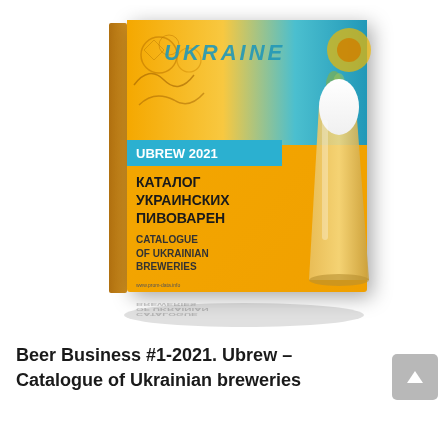[Figure (illustration): 3D perspective view of a book cover titled 'UBREW 2021 – Catalogue of Ukrainian Breweries' (КАТАЛОГ УКРАИНСКИХ ПИВОВАРЕН) with a beer glass on the right side, Ukraine doodle art on top in teal/yellow colors, orange background, and a reflection below the book]
Beer Business #1-2021. Ubrew – Catalogue of Ukrainian breweries